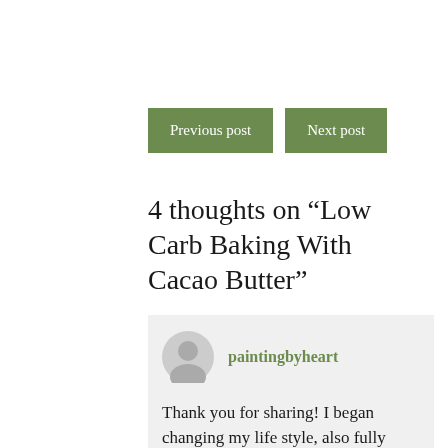Previous post
Next post
4 thoughts on “Low Carb Baking With Cacao Butter”
paintingbyheart
Thank you for sharing! I began changing my life style, also fully diabetic